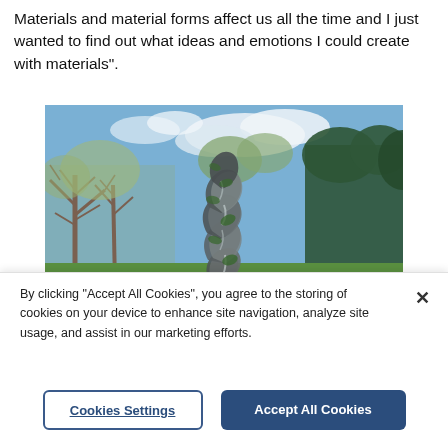Materials and material forms affect us all the time and I just wanted to find out what ideas and emotions I could create with materials".
[Figure (photo): A tall, twisted, reflective metal sculpture standing on a white rectangular base in an outdoor garden setting, surrounded by trees and green hedges under a blue sky with clouds.]
By clicking "Accept All Cookies", you agree to the storing of cookies on your device to enhance site navigation, analyze site usage, and assist in our marketing efforts.
Cookies Settings
Accept All Cookies